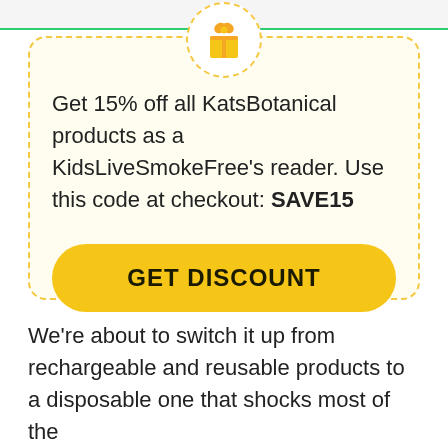[Figure (illustration): Gift box icon (yellow/orange) inside a dashed yellow circle, centered above the coupon box]
Get 15% off all KatsBotanical products as a KidsLiveSmokeFree's reader. Use this code at checkout: SAVE15
GET DISCOUNT
We're about to switch it up from rechargeable and reusable products to a disposable one that shocks most of the